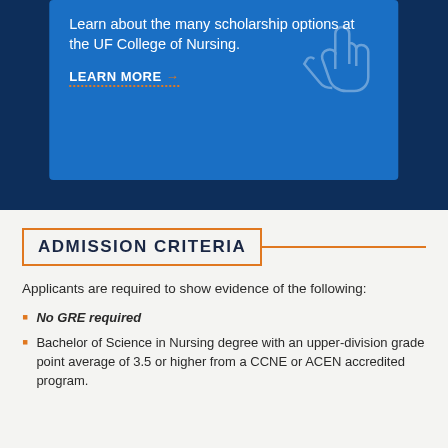Learn about the many scholarship options at the UF College of Nursing.
LEARN MORE →
ADMISSION CRITERIA
Applicants are required to show evidence of the following:
No GRE required
Bachelor of Science in Nursing degree with an upper-division grade point average of 3.5 or higher from a CCNE or ACEN accredited program.